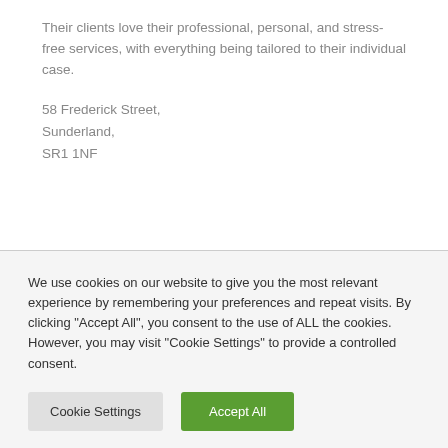Their clients love their professional, personal, and stress-free services, with everything being tailored to their individual case.
58 Frederick Street,
Sunderland,
SR1 1NF
We use cookies on our website to give you the most relevant experience by remembering your preferences and repeat visits. By clicking "Accept All", you consent to the use of ALL the cookies. However, you may visit "Cookie Settings" to provide a controlled consent.